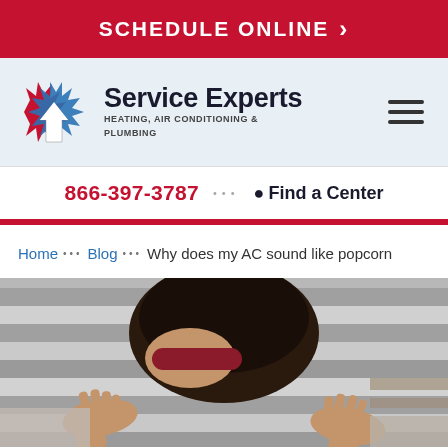SCHEDULE ONLINE >
[Figure (logo): Service Experts Heating, Air Conditioning & Plumbing logo with flame and snowflake house icon]
866-397-3787  •••  Find a Center
Home ••• Blog ••• Why does my AC sound like popcorn
[Figure (photo): Person sleeping in bed covered with striped blanket, wearing a red sleep mask]